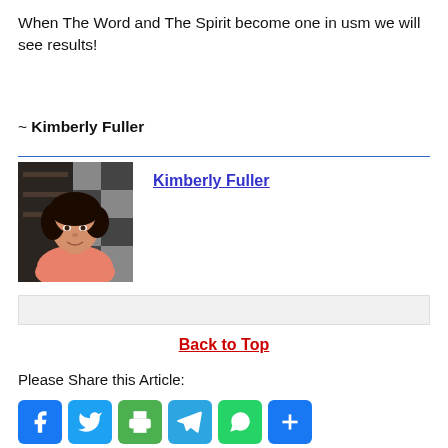When The Word and The Spirit become one in usm we will see results!
~ Kimberly Fuller
[Figure (photo): Portrait photo of Kimberly Fuller, a woman with dark hair wearing a light pink top, with a dark patterned background.]
Kimberly Fuller
Back to Top
Please Share this Article:
[Figure (infographic): Social share icons: Facebook (blue), Twitter (light blue), Print (green), Telegram (blue), WhatsApp (green), Plus/Share (blue)]